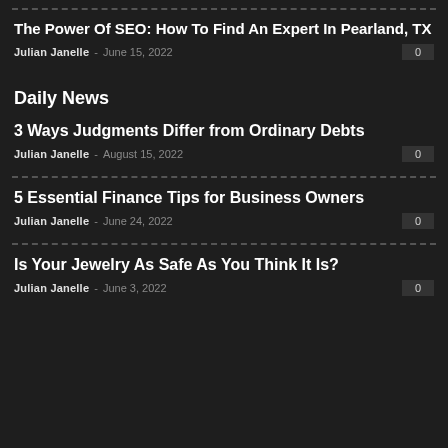The Power Of SEO: How To Find An Expert In Pearland, TX
Julian Janelle - June 15, 2022
Daily News
3 Ways Judgments Differ from Ordinary Debts
Julian Janelle - August 15, 2022
5 Essential Finance Tips for Business Owners
Julian Janelle - June 24, 2022
Is Your Jewelry As Safe As You Think It Is?
Julian Janelle - June 3, 2022